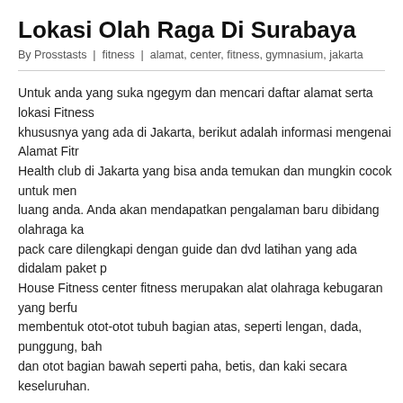Lokasi Olah Raga Di Surabaya
By Prosstasts | fitness | alamat, center, fitness, gymnasium, jakarta
Untuk anda yang suka ngegym dan mencari daftar alamat serta lokasi Fitness khususnya yang ada di Jakarta, berikut adalah informasi mengenai Alamat Fitr Health club di Jakarta yang bisa anda temukan dan mungkin cocok untuk men luang anda. Anda akan mendapatkan pengalaman baru dibidang olahraga ka pack care dilengkapi dengan guide dan dvd latihan yang ada didalam paket p House Fitness center fitness merupakan alat olahraga kebugaran yang berfu membentuk otot-otot tubuh bagian atas, seperti lengan, dada, punggung, bah dan otot bagian bawah seperti paha, betis, dan kaki secara keseluruhan.
[Figure (photo): fitness image placeholder with broken image icon and alt text 'fitness']
Latihan beban berat akan merusak otot, namun akan segera diperbaiki saat a beristirahat serta didorong oleh suplemen maupun makanan yang anda kons helps folks avoid illnesses, stay robust and fit and keep their physical and me so long as they dwell.
At first, the strategies utilized in fitness had been largely adopted from physio but then they began to distinguish increasingly from those of the other sports